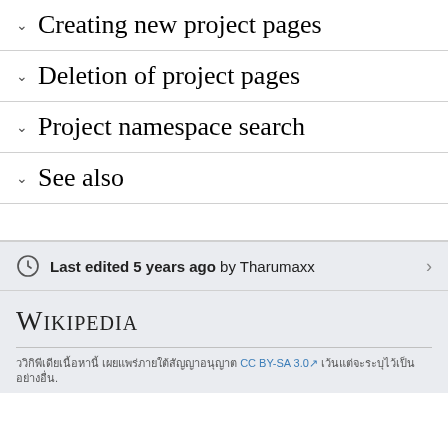Creating new project pages
Deletion of project pages
Project namespace search
See also
Last edited 5 years ago by Tharumaxx
WIKIPEDIA
ววิกิพีเดียเนื้อหานี้ เผยแพร่ภายใต้สัญญาอนุญาต CC BY-SA 3.0 เว้นแต่จะระบุไว้เป็นอย่างอื่น.